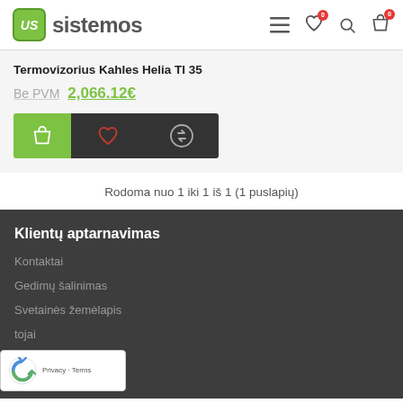US sistemos - header with logo and navigation icons
Termovizorius Kahles Helia TI 35
Be PVM 2,066.12€
Rodoma nuo 1 iki 1 iš 1 (1 puslapių)
Klientų aptarnavimas
Kontaktai
Gedimų šalinimas
Svetainės žemėlapis
tojai
[Figure (logo): reCAPTCHA Privacy - Terms badge]